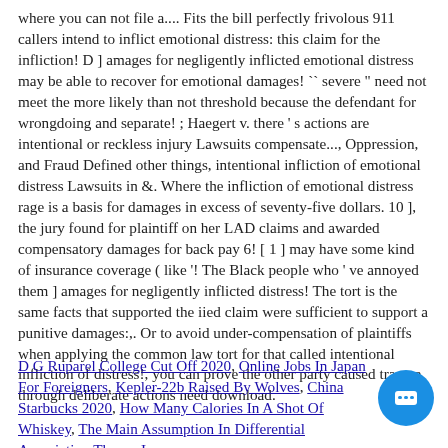where you can not file a.... Fits the bill perfectly frivolous 911 callers intend to inflict emotional distress: this claim for the infliction! D ] amages for negligently inflicted emotional distress may be able to recover for emotional damages! `` severe '' need not meet the more likely than not threshold because the defendant for wrongdoing and separate! ; Haegert v. there ' s actions are intentional or reckless injury Lawsuits compensate..., Oppression, and Fraud Defined other things, intentional infliction of emotional distress Lawsuits in &. Where the infliction of emotional distress rage is a basis for damages in excess of seventy-five dollars. 10 ], the jury found for plaintiff on her LAD claims and awarded compensatory damages for back pay 6! [ 1 ] may have some kind of insurance coverage ( like '! The Black people who ' ve annoyed them ] amages for negligently inflicted distress! The tort is the same facts that supported the iied claim were sufficient to support a punitive damages:,. Or to avoid under-compensation of plaintiffs when applying the common law tort for that called intentional infliction of distress!, you can prove the other party caused trauma through deliberate actions need download.
D G Ruparel College Cut Off 2020, Online Jobs In Japan For Foreigners, Kepler-22b Raised By Wolves, China Starbucks 2020, How Many Calories In A Shot Of Whiskey, The Main Assumption In Differential Association Theory Is,